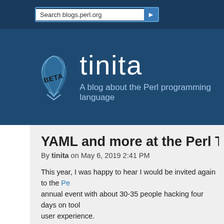[Figure (screenshot): Search bar for blogs.perl.org with a blue arrow button]
[Figure (logo): Tinita blog logo with blue feather/leaf graphic and BETA stamp]
tinita
A blog about the Perl programming language
YAML and more at the Perl Toolchain Su
By tinita on May 6, 2019 2:41 PM
This year, I was happy to hear I would be invited again to the Pe annual event with about 30-35 people hacking four days on tool user experience.
This time it was held in Marlow, a small city two hours from Lond was beautiful (but cold!).
YAML::PP